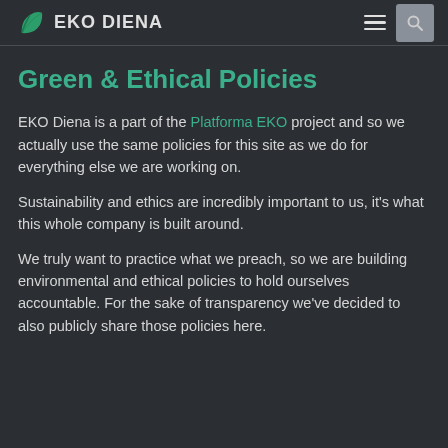EKO DIENA
Green & Ethical Policies
EKO Diena is a part of the Platforma EKO project and so we actually use the same policies for this site as we do for everything else we are working on.
Sustainability and ethics are incredibly important to us, it's what this whole company is built around.
We truly want to practice what we preach, so we are building environmental and ethical policies to hold ourselves accountable. For the sake of transparency we've decided to also publicly share those policies here.